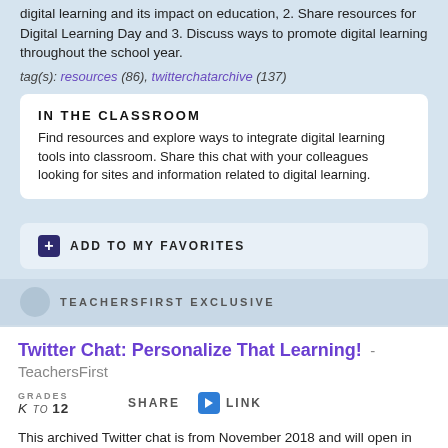digital learning and its impact on education, 2. Share resources for Digital Learning Day and 3. Discuss ways to promote digital learning throughout the school year.
tag(s): resources (86), twitterchatarchive (137)
IN THE CLASSROOM
Find resources and explore ways to integrate digital learning tools into classroom. Share this chat with your colleagues looking for sites and information related to digital learning.
ADD TO MY FAVORITES
TEACHERSFIRST EXCLUSIVE
Twitter Chat: Personalize That Learning! - TeachersFirst
GRADES K TO 12
SHARE
LINK
This archived Twitter chat is from November 2018 and will open in Wakelet. The title of this chat is: Personalize That Learning! Through this chat, participants will: 1. Define personalized learning and its characteristics 2. Share tech tools that aid in creating a personalized learning environment and 3. Share resources to help with lesson planning which incorporates